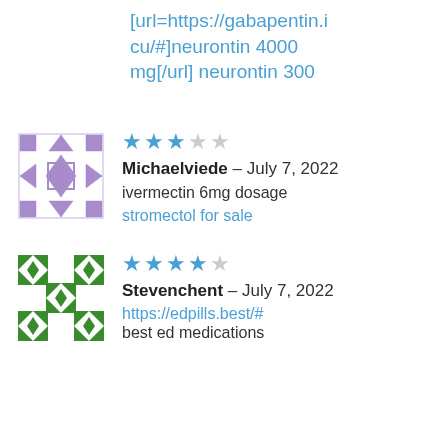[url=https://gabapentin.icu/#]neurontin 4000 mg[/url] neurontin 300
[Figure (illustration): Purple geometric quilt-pattern avatar icon]
Michaelviede – July 7, 2022
ivermectin 6mg dosage
stromectol for sale
[Figure (illustration): Green geometric quilt-pattern avatar icon]
Stevenchent – July 7, 2022
https://edpills.best/# best ed medications